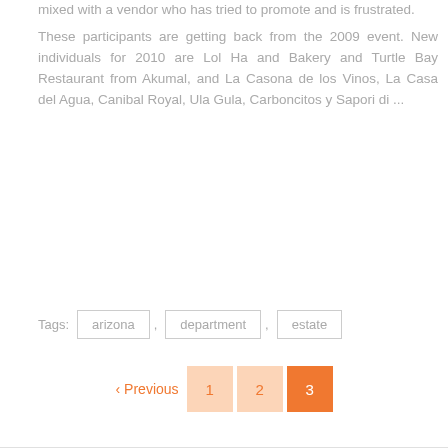mixed with a vendor who has tried to promote and is frustrated. These participants are getting back from the 2009 event. New individuals for 2010 are Lol Ha and Bakery and Turtle Bay Restaurant from Akumal, and La Casona de los Vinos, La Casa del Agua, Canibal Royal, Ula Gula, Carboncitos y Sapori di ...
VIEW THE POST
Tags:  arizona ,  department ,  estate
< Previous  1  2  3